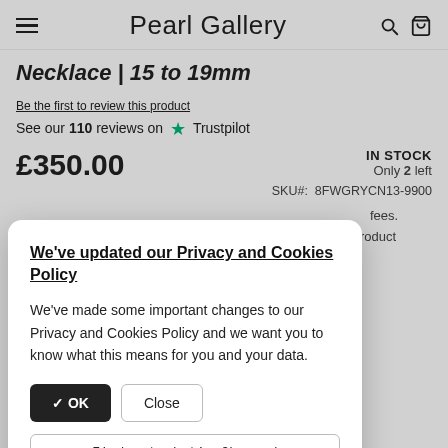Pearl Gallery
Necklace | 15 to 19mm
Be the first to review this product
See our 110 reviews on Trustpilot
£350.00
IN STOCK
Only 2 left
SKU#: 8FWGRYCN13-9900
fees.
roduct
We've updated our Privacy and Cookies Policy
We've made some important changes to our Privacy and Cookies Policy and we want you to know what this means for you and your data.
✓ OK   Close   Find out what's Changed